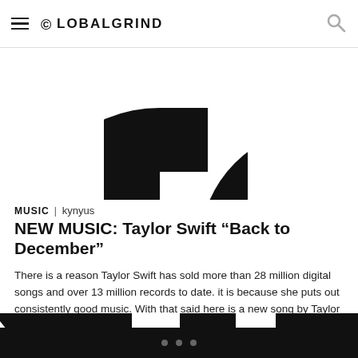GLOBALGRIND
[Figure (photo): Partial black and white logo image, cropped, showing circular letter shapes on white background]
MUSIC | kynyus
NEW MUSIC: Taylor Swift “Back to December”
There is a reason Taylor Swift has sold more than 28 million digital songs and over 13 million records to date. it is because she puts out consistently good music. With that said here is a new song by Taylor titled, ‘Back To December’. No official word as to the placement of this record but […]
[Figure (photo): Partial black and white logo image, cropped at bottom of page, showing circular letter shapes]